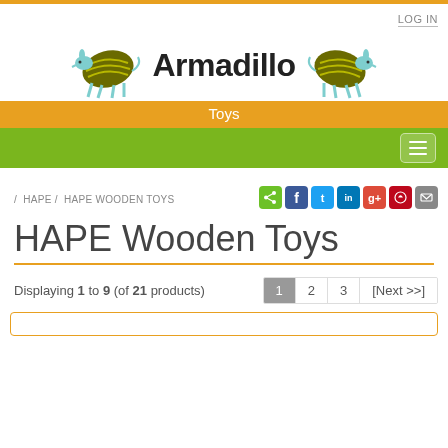LOG IN
[Figure (logo): Armadillo Toys logo with two armadillo illustrations and orange/green banner]
/ HAPE / HAPE WOODEN TOYS
HAPE Wooden Toys
Displaying 1 to 9 (of 21 products) 1 2 3 [Next >>]